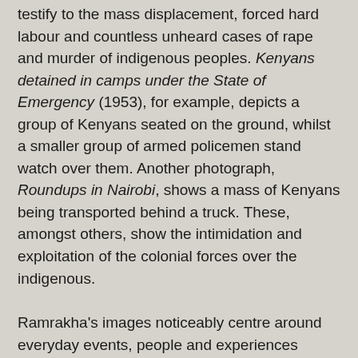testify to the mass displacement, forced hard labour and countless unheard cases of rape and murder of indigenous peoples. Kenyans detained in camps under the State of Emergency (1953), for example, depicts a group of Kenyans seated on the ground, whilst a smaller group of armed policemen stand watch over them. Another photograph, Roundups in Nairobi, shows a mass of Kenyans being transported behind a truck. These, amongst others, show the intimidation and exploitation of the colonial forces over the indigenous.
Ramrakha's images noticeably centre around everyday events, people and experiences leaning towards the political aspirations and contributions of communities in Kenya. He was also highly influenced by the growth of independence and the Pan-Africanist movement, reflected by his photographs of leading figures such as Tom Mboya and Jomo Kenyatta. During his years studying in the United States this trend continues